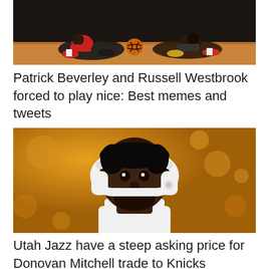[Figure (photo): Basketball players on a court floor, appears to show Patrick Beverley and Russell Westbrook diving/playing on the hardwood court]
Patrick Beverley and Russell Westbrook forced to play nice: Best memes and tweets
[Figure (photo): Donovan Mitchell wearing white Beats headphones, with a golden/yellow bokeh background, wearing a white jersey]
Utah Jazz have a steep asking price for Donovan Mitchell trade to Knicks